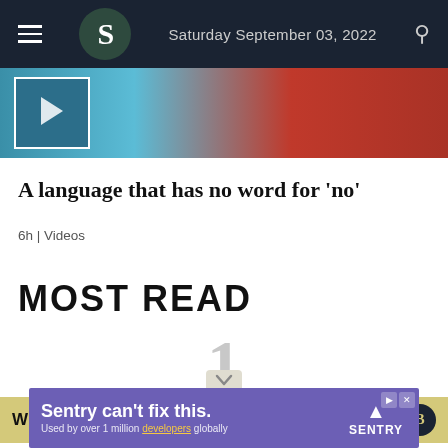Saturday September 03, 2022
[Figure (photo): Hero image showing a person with a flag and another person's hands with a watch, cyan/red background]
A language that has no word for 'no'
6h | Videos
MOST READ
1
[Figure (infographic): WHAT'S WRONG WITH NAGAD banner in gold/tan background with dark circular icon]
[Figure (screenshot): Sentry advertisement: Sentry can't fix this. Used by over 1 million developers globally]